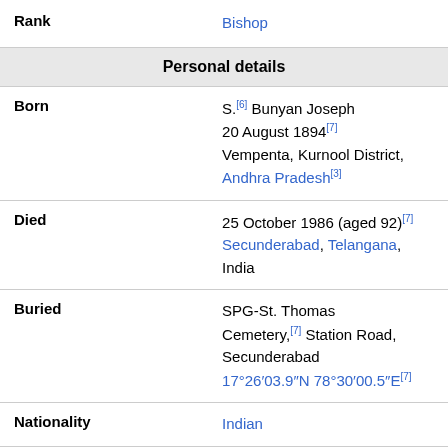| Field | Value |
| --- | --- |
| Rank | Bishop |
| Personal details |  |
| Born | S.[6] Bunyan Joseph
20 August 1894[7]
Vempenta, Kurnool District, Andhra Pradesh[3] |
| Died | 25 October 1986 (aged 92)[7]
Secunderabad, Telangana, India |
| Buried | SPG-St. Thomas Cemetery,[7] Station Road, Secunderabad
17°26′03.9″N 78°30′00.5″E[7] |
| Nationality | Indian |
| Denomination | Christianity |